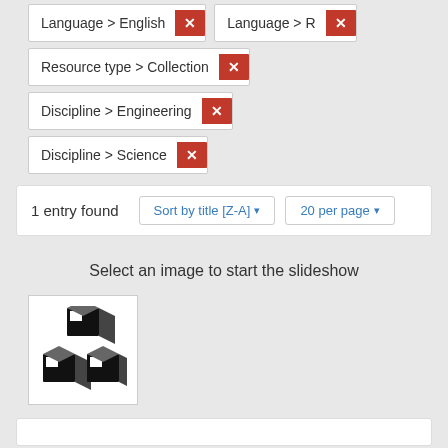Language > English ×
Language > R ×
Resource type > Collection ×
Discipline > Engineering ×
Discipline > Science ×
1 entry found
Sort by title [Z-A] ▾
20 per page ▾
Select an image to start the slideshow
[Figure (illustration): 3D blocks/cubes icon in black and white]